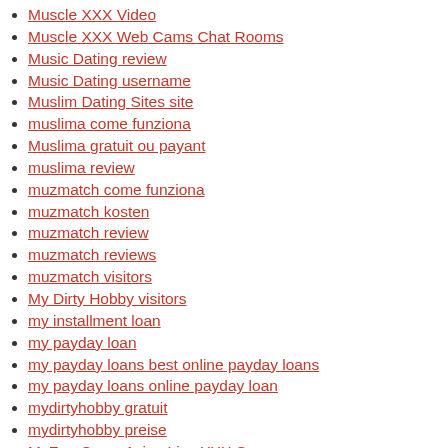Muscle XXX Video
Muscle XXX Web Cams Chat Rooms
Music Dating review
Music Dating username
Muslim Dating Sites site
muslima come funziona
Muslima gratuit ou payant
muslima review
muzmatch come funziona
muzmatch kosten
muzmatch review
muzmatch reviews
muzmatch visitors
My Dirty Hobby visitors
my installment loan
my payday loan
my payday loans best online payday loans
my payday loans online payday loan
mydirtyhobby gratuit
mydirtyhobby preise
MyFreeCams Asian Live XXX Cams
MyFreeCams Asian Live XXX Video
MyFreeCams Asian Real Sex Chat
MyFreeCams Asian Web Cams live
MyFreeCams Asian Webcam